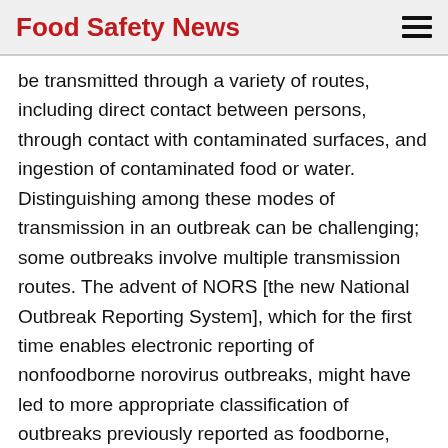Food Safety News
be transmitted through a variety of routes, including direct contact between persons, through contact with contaminated surfaces, and ingestion of contaminated food or water. Distinguishing among these modes of transmission in an outbreak can be challenging; some outbreaks involve multiple transmission routes. The advent of NORS [the new National Outbreak Reporting System], which for the first time enables electronic reporting of nonfoodborne norovirus outbreaks, might have led to more appropriate classification of outbreaks previously reported as foodborne, resulting in fewer reports of foodborne norovirus outbreaks. Other possible explanations for the fewer foodborne disease